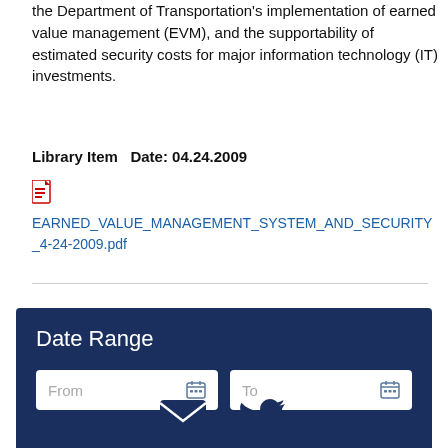the Department of Transportation's implementation of earned value management (EVM), and the supportability of estimated security costs for major information technology (IT) investments.
Library Item   Date: 04.24.2009
[Figure (other): PDF document icon (small red and white icon)]
EARNED_VALUE_MANAGEMENT_SYSTEM_AND_SECURITY_4-24-2009.pdf
[Figure (screenshot): Date Range filter widget with dark navy blue background, containing two input fields labeled From and To, each with a calendar icon]
[Figure (other): Email icon (envelope) and Twitter bird icon in dark navy blue]